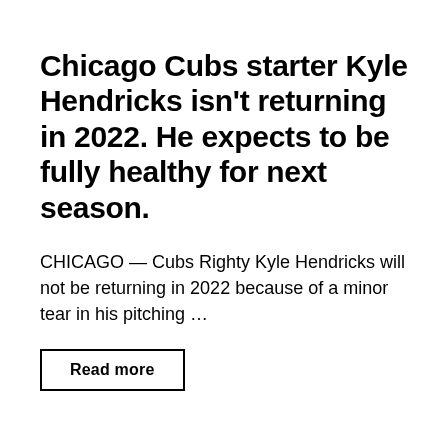Chicago Cubs starter Kyle Hendricks isn't returning in 2022. He expects to be fully healthy for next season.
CHICAGO — Cubs Righty Kyle Hendricks will not be returning in 2022 because of a minor tear in his pitching …
Read more